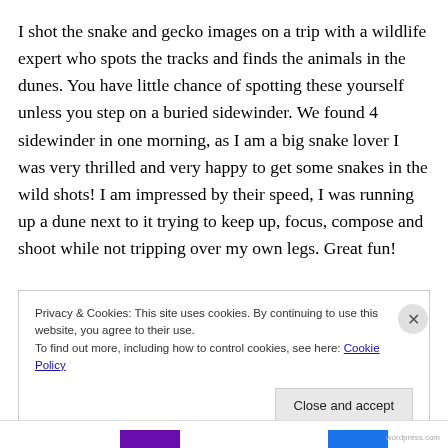I shot the snake and gecko images on a trip with a wildlife expert who spots the tracks and finds the animals in the dunes. You have little chance of spotting these yourself unless you step on a buried sidewinder. We found 4 sidewinder in one morning, as I am a big snake lover I was very thrilled and very happy to get some snakes in the wild shots! I am impressed by their speed, I was running up a dune next to it trying to keep up, focus, compose and shoot while not tripping over my own legs. Great fun!
Privacy & Cookies: This site uses cookies. By continuing to use this website, you agree to their use.
To find out more, including how to control cookies, see here: Cookie Policy
Close and accept